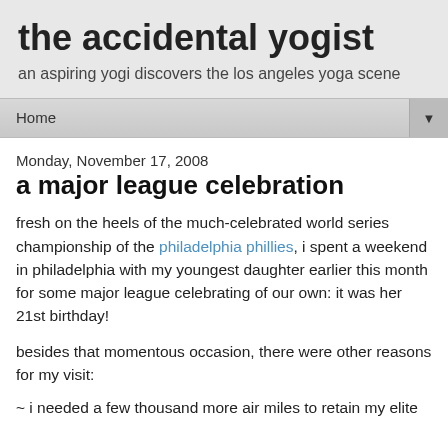the accidental yogist
an aspiring yogi discovers the los angeles yoga scene
Home
Monday, November 17, 2008
a major league celebration
fresh on the heels of the much-celebrated world series championship of the philadelphia phillies, i spent a weekend in philadelphia with my youngest daughter earlier this month for some major league celebrating of our own: it was her 21st birthday!
besides that momentous occasion, there were other reasons for my visit:
~ i needed a few thousand more air miles to retain my elite